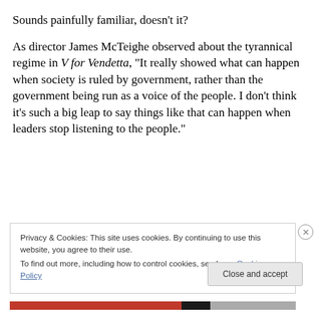Sounds painfully familiar, doesn’t it?
As director James McTeighe observed about the tyrannical regime in V for Vendetta, “It really showed what can happen when society is ruled by government, rather than the government being run as a voice of the people. I don’t think it’s such a big leap to say things like that can happen when leaders stop listening to the people.”
Privacy & Cookies: This site uses cookies. By continuing to use this website, you agree to their use.
To find out more, including how to control cookies, see here: Cookie Policy